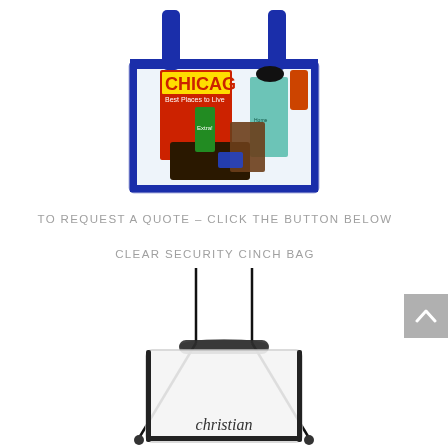[Figure (photo): A clear tote bag with navy blue handles and trim, filled with various items including a Chicago magazine, toiletries, and other personal items.]
TO REQUEST A QUOTE – CLICK THE BUTTON BELOW
CLEAR SECURITY CINCH BAG
[Figure (photo): A clear drawstring cinch bag with black drawstrings and black gathered top, with 'christian' text visible at the bottom of the bag.]